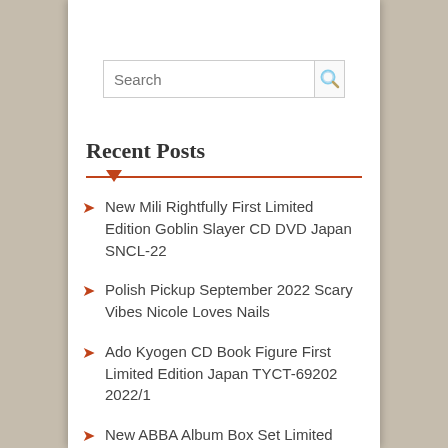[Figure (screenshot): Search input box with magnifying glass icon]
Recent Posts
New Mili Rightfully First Limited Edition Goblin Slayer CD DVD Japan SNCL-22
Polish Pickup September 2022 Scary Vibes Nicole Loves Nails
Ado Kyogen CD Book Figure First Limited Edition Japan TYCT-69202 2022/1
New ABBA Album Box Set Limited Edition 10 SHM CD